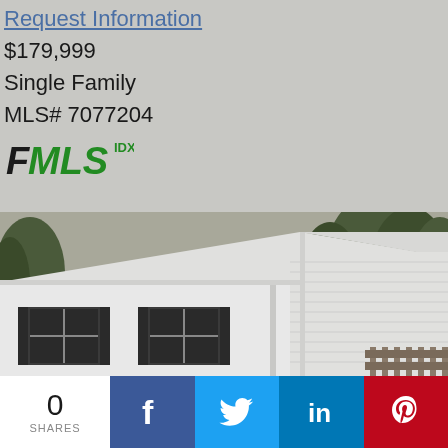Request Information
$179,999
Single Family
MLS# 7077204
[Figure (logo): FMLS IDX logo in green and black italic text]
[Figure (photo): Black and white photo of a single family home exterior with white siding, dark shuttered windows, and trees in background]
0 SHARES
[Figure (infographic): Social sharing bar with Facebook, Twitter, LinkedIn, and Pinterest buttons]